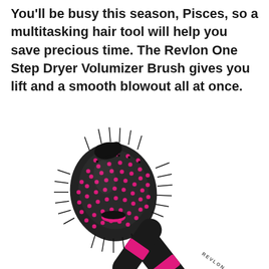You'll be busy this season, Pisces, so a multitasking hair tool will help you save precious time. The Revlon One Step Dryer Volumizer Brush gives you lift and a smooth blowout all at once.
[Figure (photo): Revlon One Step Dryer Volumizer Brush — a large round barrel brush with black and pink bristles and a black handle with pink accent stripe, shown at an angle on a white background. The word REVLON is visible on the handle.]